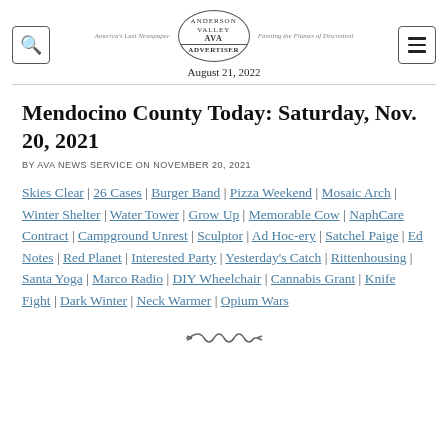Anderson Valley Advertiser — America's Last Newspaper — Fanning the Flames of Discontent — August 21, 2022
Mendocino County Today: Saturday, Nov. 20, 2021
BY AVA NEWS SERVICE ON NOVEMBER 20, 2021
Skies Clear | 26 Cases | Burger Band | Pizza Weekend | Mosaic Arch | Winter Shelter | Water Tower | Grow Up | Memorable Cow | NaphCare Contract | Campground Unrest | Sculptor | Ad Hoc-ery | Satchel Paige | Ed Notes | Red Planet | Interested Party | Yesterday's Catch | Rittenhousing | Santa Yoga | Marco Radio | DIY Wheelchair | Cannabis Grant | Knife Fight | Dark Winter | Neck Warmer | Opium Wars